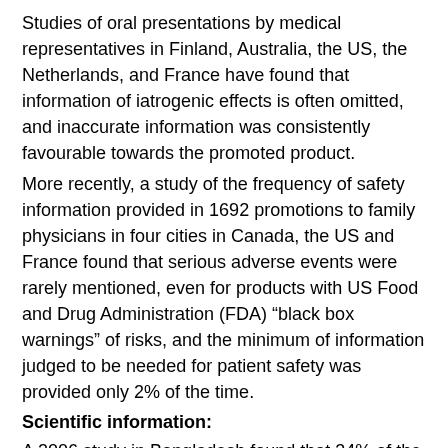Studies of oral presentations by medical representatives in Finland, Australia, the US, the Netherlands, and France have found that information of iatrogenic effects is often omitted, and inaccurate information was consistently favourable towards the promoted product.
More recently, a study of the frequency of safety information provided in 1692 promotions to family physicians in four cities in Canada, the US and France found that serious adverse events were rarely mentioned, even for products with US Food and Drug Administration (FDA) “black box warnings” of risks, and the minimum of information judged to be needed for patient safety was provided only 2% of the time.
Scientific information:
A 2006 study in Bangladesh found that 34% of the claims in a sample of 116 brochures for family physicians were misleading. Similarly, in Nepal,